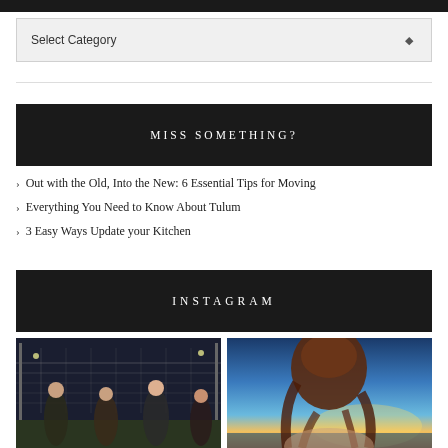Select Category
MISS SOMETHING?
Out with the Old, Into the New: 6 Essential Tips for Moving
Everything You Need to Know About Tulum
3 Easy Ways Update your Kitchen
INSTAGRAM
[Figure (photo): Night photo of people (players) standing in front of a volleyball/sports net outdoors]
[Figure (photo): Person with long reddish-brown hair seen from behind against a sunset sky with blue and golden tones]